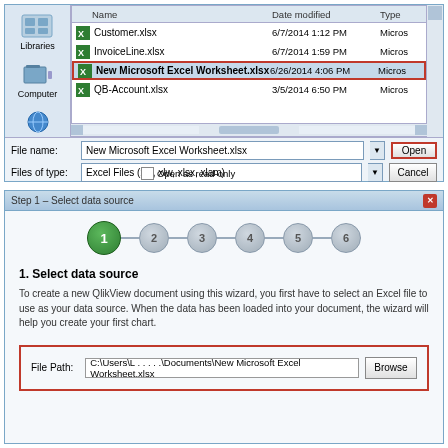[Figure (screenshot): Windows file open dialog showing Excel files: Customer.xlsx (6/7/2014 1:12 PM), InvoiceLine.xlsx (6/7/2014 1:59 PM), New Microsoft Excel Worksheet.xlsx (6/26/2014 4:06 PM, selected with red border), QB-Account.xlsx (3/5/2014 6:50 PM). File name field shows 'New Microsoft Excel Worksheet.xlsx', Files of type shows 'Excel Files (xls, xlw, xlsx, xlam)'. Open button highlighted with red border.]
[Figure (screenshot): Step 1 – Select data source wizard dialog. Shows numbered step circles 1-6 with step 1 highlighted in green. Section title '1. Select data source'. Description text about creating a QlikView document using a wizard. File Path field with red border showing 'C:\Users\L . . . . .\Documents\New Microsoft Excel Worksheet.xlsx' and Browse button.]